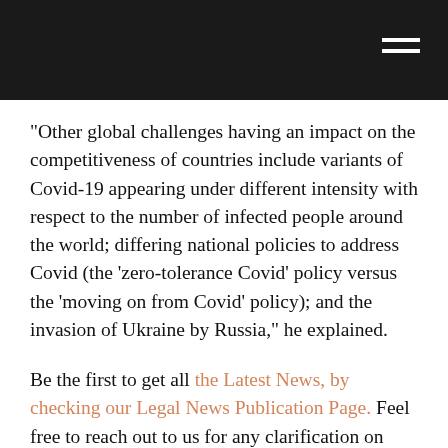“Other global challenges having an impact on the competitiveness of countries include variants of Covid-19 appearing under different intensity with respect to the number of infected people around the world; differing national policies to address Covid (the ‘zero-tolerance Covid’ policy versus the ‘moving on from Covid’ policy); and the invasion of Ukraine by Russia,” he explained.
Be the first to get all the Latest News, by checking our Legal News Publication Page. Feel free to reach out to us for any clarification on lexyom.com